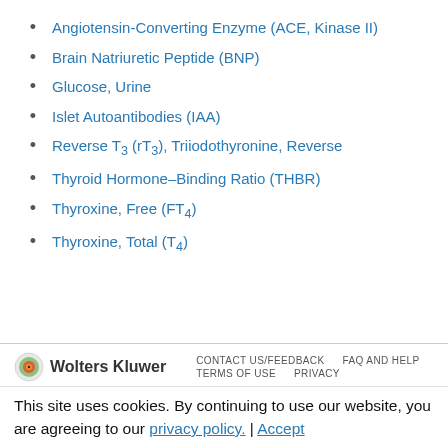Angiotensin-Converting Enzyme (ACE, Kinase II)
Brain Natriuretic Peptide (BNP)
Glucose, Urine
Islet Autoantibodies (IAA)
Reverse T3 (rT3), Triiodothyronine, Reverse
Thyroid Hormone–Binding Ratio (THBR)
Thyroxine, Free (FT4)
Thyroxine, Total (T4)
Wolters Kluwer | CONTACT US/FEEDBACK | FAQ AND HELP | TERMS OF USE | PRIVACY
This site uses cookies. By continuing to use our website, you are agreeing to our privacy policy. | Accept